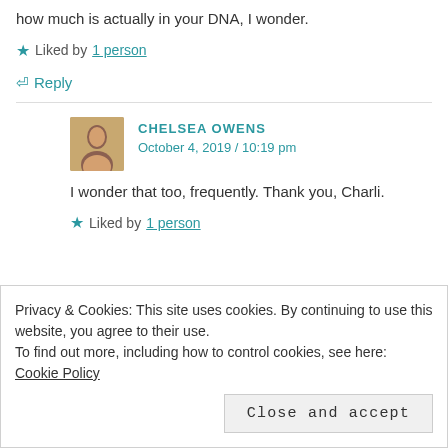how much is actually in your DNA, I wonder.
Liked by 1 person
Reply
CHELSEA OWENS
October 4, 2019 / 10:19 pm
I wonder that too, frequently. Thank you, Charli.
Liked by 1 person
Privacy & Cookies: This site uses cookies. By continuing to use this website, you agree to their use.
To find out more, including how to control cookies, see here: Cookie Policy
Close and accept